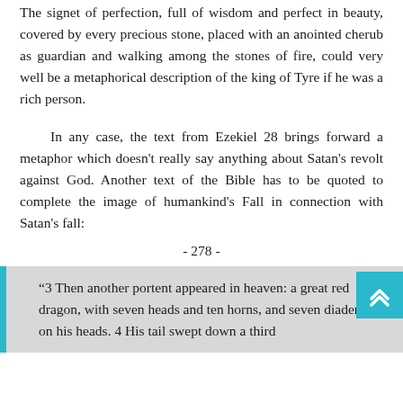The signet of perfection, full of wisdom and perfect in beauty, covered by every precious stone, placed with an anointed cherub as guardian and walking among the stones of fire, could very well be a metaphorical description of the king of Tyre if he was a rich person.
In any case, the text from Ezekiel 28 brings forward a metaphor which doesn't really say anything about Satan's revolt against God. Another text of the Bible has to be quoted to complete the image of humankind's Fall in connection with Satan's fall:
- 278 -
“3 Then another portent appeared in heaven: a great red dragon, with seven heads and ten horns, and seven diadems on his heads. 4 His tail swept down a third